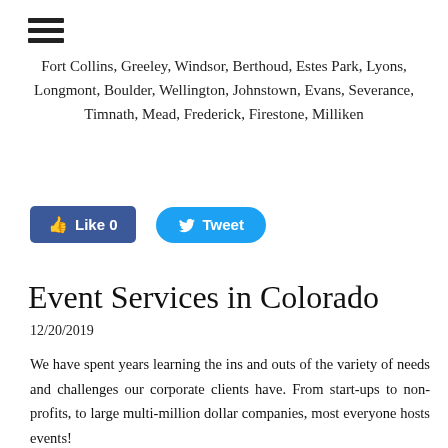≡
Fort Collins, Greeley, Windsor, Berthoud, Estes Park, Lyons, Longmont, Boulder, Wellington, Johnstown, Evans, Severance, Timnath, Mead, Frederick, Firestone, Milliken
[Figure (other): Facebook Like button (blue, rounded rectangle) with thumbs up icon showing 'Like 0', and Twitter Tweet button (blue, pill-shaped) with bird icon]
Event Services in Colorado
12/20/2019
We have spent years learning the ins and outs of the variety of needs and challenges our corporate clients have. From start-ups to non-profits, to large multi-million dollar companies, most everyone hosts events!